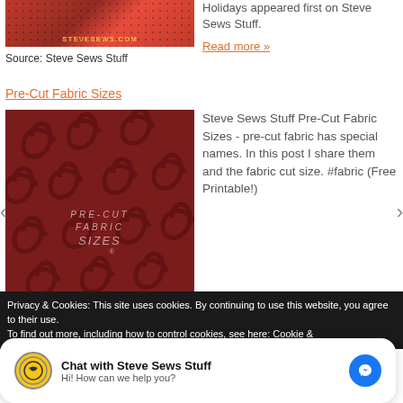[Figure (photo): Top portion of a red fabric/crafts image with stevesews.com text and polka dot pattern]
Holidays appeared first on Steve Sews Stuff.
Read more »
Source: Steve Sews Stuff
Pre-Cut Fabric Sizes
[Figure (photo): Dark red fabric with swirl pattern and text reading PRE-CUT FABRIC SIZES]
Steve Sews Stuff Pre-Cut Fabric Sizes - pre-cut fabric has special names. In this post I share them and the fabric cut size. #fabric (Free Printable!)
Privacy & Cookies: This site uses cookies. By continuing to use this website, you agree to their use.
To find out more, including how to control cookies, see here: Cookie &
Chat with Steve Sews Stuff
Hi! How can we help you?